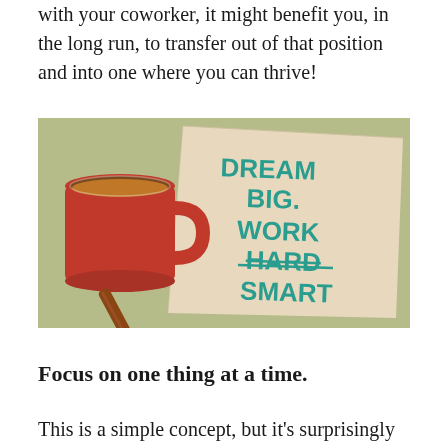with your coworker, it might benefit you, in the long run, to transfer out of that position and into one where you can thrive!
[Figure (photo): Photo of a red coffee mug, a brown pen, and a beige napkin with the handwritten text 'DREAM BIG. WORK HARD SMART' (HARD is crossed out) in teal/turquoise ink, on a green background.]
Focus on one thing at a time.
This is a simple concept, but it's surprisingly